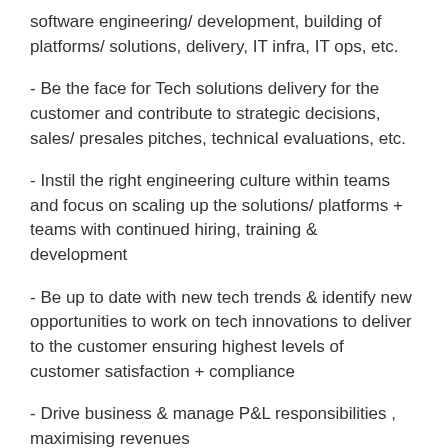software engineering/ development, building of platforms/ solutions, delivery, IT infra, IT ops, etc.
- Be the face for Tech solutions delivery for the customer and contribute to strategic decisions, sales/ presales pitches, technical evaluations, etc.
- Instil the right engineering culture within teams and focus on scaling up the solutions/ platforms + teams with continued hiring, training & development
- Be up to date with new tech trends & identify new opportunities to work on tech innovations to deliver to the customer ensuring highest levels of customer satisfaction + compliance
- Drive business & manage P&L responsibilities , maximising revenues
- Strong leadership & stakeholder mgmt skills to strike the ri balance between in-house & customer teams, peers & leade via highest collaboration